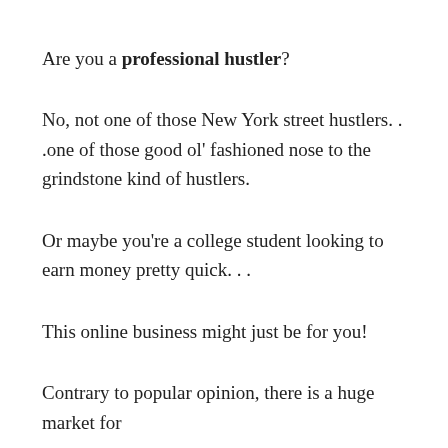Are you a professional hustler?
No, not one of those New York street hustlers. . .one of those good ol' fashioned nose to the grindstone kind of hustlers.
Or maybe you're a college student looking to earn money pretty quick. . .
This online business might just be for you!
Contrary to popular opinion, there is a huge market for